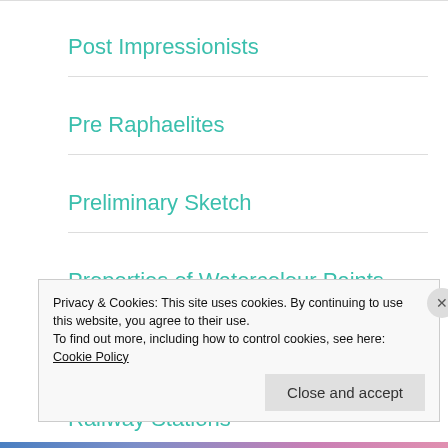Post Impressionists
Pre Raphaelites
Preliminary Sketch
Properties of Watercolour Paints
Ragusa
Railway Stations
Privacy & Cookies: This site uses cookies. By continuing to use this website, you agree to their use.
To find out more, including how to control cookies, see here: Cookie Policy
Close and accept